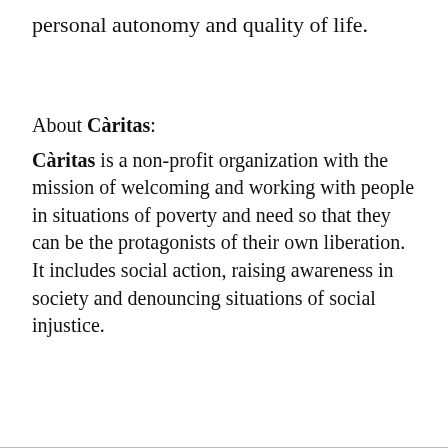personal autonomy and quality of life.
About Càritas:
Càritas is a non-profit organization with the mission of welcoming and working with people in situations of poverty and need so that they can be the protagonists of their own liberation. It includes social action, raising awareness in society and denouncing situations of social injustice.